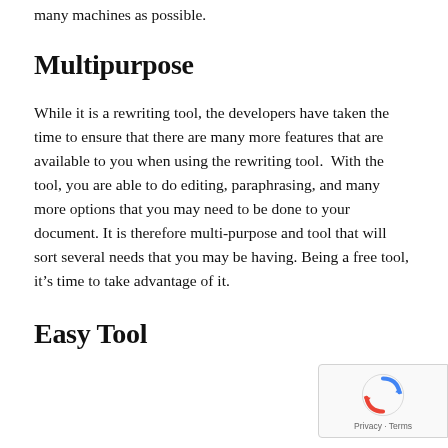many machines as possible.
Multipurpose
While it is a rewriting tool, the developers have taken the time to ensure that there are many more features that are available to you when using the rewriting tool.  With the tool, you are able to do editing, paraphrasing, and many more options that you may need to be done to your document. It is therefore multi-purpose and tool that will sort several needs that you may be having. Being a free tool, it’s time to take advantage of it.
Easy Tool